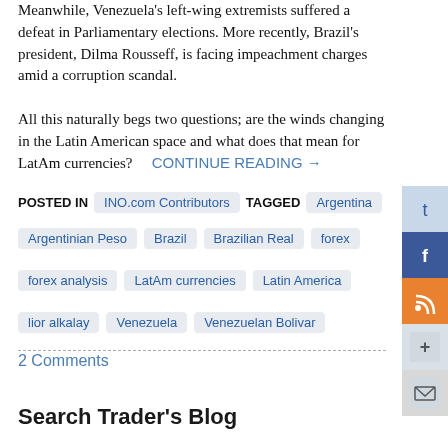Meanwhile, Venezuela's left-wing extremists suffered a defeat in Parliamentary elections. More recently, Brazil's president, Dilma Rousseff, is facing impeachment charges amid a corruption scandal.

All this naturally begs two questions; are the winds changing in the Latin American space and what does that mean for LatAm currencies?   CONTINUE READING →
POSTED IN  INO.com Contributors   TAGGED  Argentina
Argentinian Peso
Brazil
Brazilian Real
forex
forex analysis
LatAm currencies
Latin America
lior alkalay
Venezuela
Venezuelan Bolivar
2 Comments
Search Trader's Blog